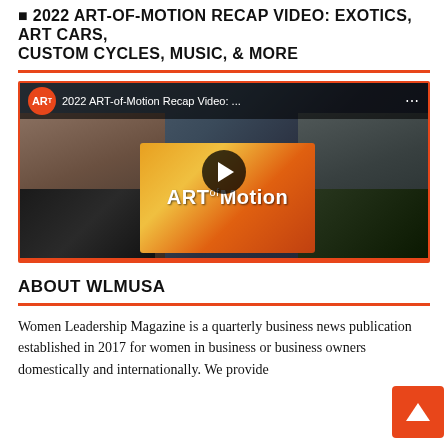2022 ART-OF-MOTION RECAP VIDEO: EXOTICS, ART CARS, CUSTOM CYCLES, MUSIC, & MORE
[Figure (screenshot): YouTube video thumbnail for '2022 ART-of-Motion Recap Video: ...' showing two men posing at an auto art show event, with ART of Motion branding, smaller inset photos of cars and attendees]
ABOUT WLMUSA
Women Leadership Magazine is a quarterly business news publication established in 2017 for women in business or business owners domestically and internationally. We provide